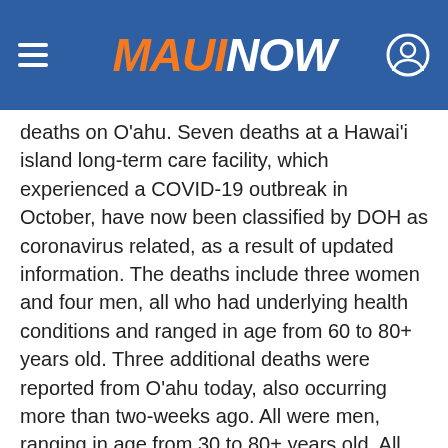MAUI NOW
deaths on Oʻahu. Seven deaths at a Hawaiʻi island long-term care facility, which experienced a COVID-19 outbreak in October, have now been classified by DOH as coronavirus related, as a result of updated information. The deaths include three women and four men, all who had underlying health conditions and ranged in age from 60 to 80+ years old. Three additional deaths were reported from Oʻahu today, also occurring more than two-weeks ago. All were men, ranging in age from 30 to 80+ years old. All had underlying health conditions and two of the men had been in the hospital.
(Dec. 3) Hawaiʻi’s COVID-19 death toll increased to 246 with two new deaths reported today on Oʻahu. A woman, 80-years-old or older, had been hospitalized with underly…